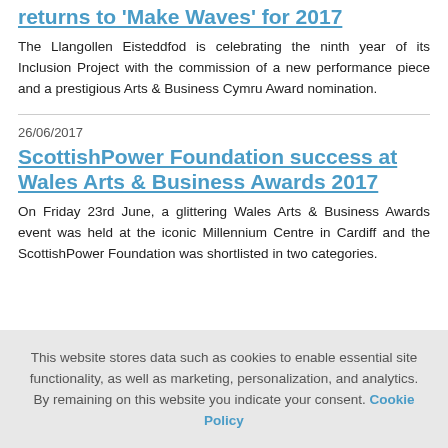returns to 'Make Waves' for 2017
The Llangollen Eisteddfod is celebrating the ninth year of its Inclusion Project with the commission of a new performance piece and a prestigious Arts & Business Cymru Award nomination.
26/06/2017
ScottishPower Foundation success at Wales Arts & Business Awards 2017
On Friday 23rd June, a glittering Wales Arts & Business Awards event was held at the iconic Millennium Centre in Cardiff and the ScottishPower Foundation was shortlisted in two categories.
This website stores data such as cookies to enable essential site functionality, as well as marketing, personalization, and analytics. By remaining on this website you indicate your consent. Cookie Policy